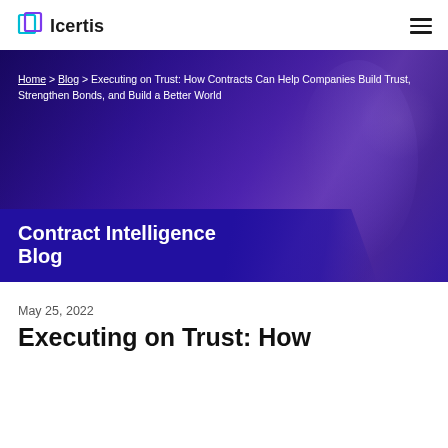Icertis
[Figure (screenshot): Icertis website blog page header with hero banner showing breadcrumb navigation and Contract Intelligence Blog label over a purple-tinted photo of a person working on a laptop]
May 25, 2022
Executing on Trust: How